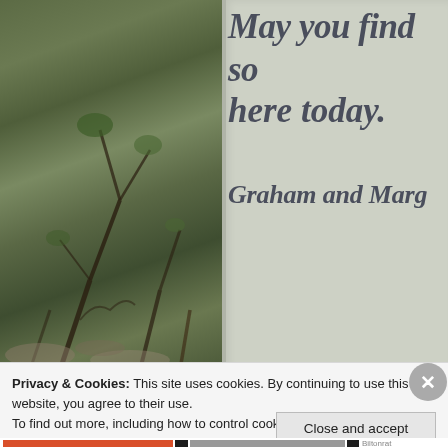[Figure (photo): Photograph of an outdoor garden scene with a stone or concrete sign/plaque visible. The left side shows greenery, branches, and garden plants. The sign reads in bold italic serif text: 'May you find so[mething] here today.' and below 'Graham and Marg[aret?]'. A cookie consent popup overlay appears at the bottom of the image.]
Privacy & Cookies: This site uses cookies. By continuing to use this website, you agree to their use.
To find out more, including how to control cookies, see here: Cookie Policy
Close and accept